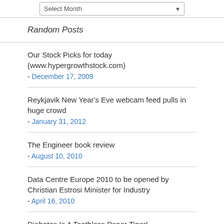Random Posts
Our Stock Picks for today (www.hypergrowthstock.com) - December 17, 2009
Reykjavik New Year's Eve webcam feed pulls in huge crowd - January 31, 2012
The Engineer book review - August 10, 2010
Data Centre Europe 2010 to be opened by Christian Estrosi Minister for Industry - April 16, 2010
Diabetes Is A Toothless Paper Tiger! - April 3, 2013